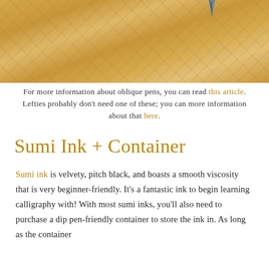[Figure (photo): Close-up photo of a wooden surface (likely a desk or board) with a pen tip visible at the top right corner. The wood has a warm golden-brown tone with natural grain texture.]
For more information about oblique pens, you can read this article. Lefties probably don't need one of these; you can more information about that here.
Sumi Ink + Container
Sumi ink is velvety, pitch black, and boasts a smooth viscosity that is very beginner-friendly. It's a fantastic ink to begin learning calligraphy with! With most sumi inks, you'll also need to purchase a dip pen-friendly container to store the ink in. As long as the container